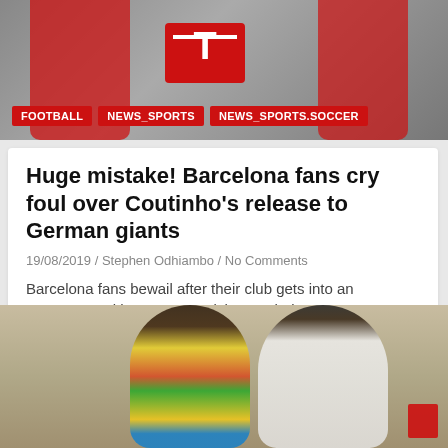[Figure (photo): Sports photo showing people in red jerseys, likely at a Bayern Munich event with T-Mobile branding]
FOOTBALL
NEWS_SPORTS
NEWS_SPORTS.SOCCER
Huge mistake! Barcelona fans cry foul over Coutinho's release to German giants
19/08/2019 / Stephen Odhiambo / No Comments
Barcelona fans bewail after their club gets into an agreement with Bayern Munich over their star…
[Figure (photo): Photo of a woman in colorful African print dress and a man in a white t-shirt and grey cap, smiling and facing each other]